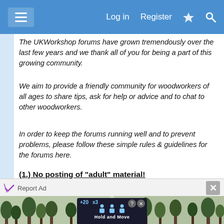Log in  Register
The UKWorkshop forums have grown tremendously over the last few years and we thank all of you for being a part of this growing community.
We aim to provide a friendly community for woodworkers of all ages to share tips, ask for help or advice and to chat to other woodworkers.
In order to keep the forums running well and to prevent problems, please follow these simple rules & guidelines for the forums here.
(1.) No posting of "adult" material!
UKW wants this to be a forum that all your family can enjoy. When posting a message please remember to
[Figure (screenshot): Advertisement banner with 'Hold and Move' app, showing outdoor winter scene with trees, and a dark centered UI showing person icons]